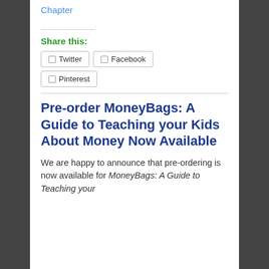Chapter
Share this:
Twitter
Facebook
Pinterest
Pre-order MoneyBags: A Guide to Teaching your Kids About Money Now Available
We are happy to announce that pre-ordering is now available for MoneyBags: A Guide to Teaching your